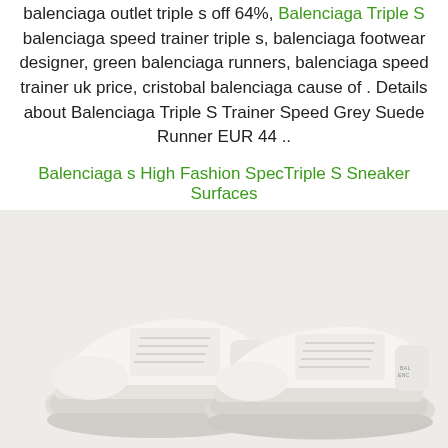balenciaga outlet triple s off 64%, Balenciaga Triple S balenciaga speed trainer triple s, balenciaga footwear designer, green balenciaga runners, balenciaga speed trainer uk price, cristobal balenciaga cause of . Details about Balenciaga Triple S Trainer Speed Grey Suede Runner EUR 44 ..
Balenciaga s High Fashion SpecTriple S Sneaker Surfaces
[Figure (photo): White Balenciaga Triple S sneakers/trainers photographed on a light grey background, showing the chunky sole and triple-layer design.]